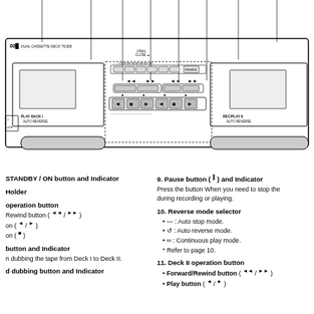[Figure (engineering-diagram): Front panel schematic of a dual cassette deck (TD365) showing PLAYBACK I AUTO REVERSE deck on left, REC/PLAY II AUTO REVERSE deck on right, transport controls, buttons for rewind/fast-forward, play, stop, pause, and reverse mode selector in the center panel.]
STANDBY / ON button and Indicator
Holder
operation button
Forward/Rewind button ( << / >> )
Play button ( << / >> )
Stop button ( [] )
button and Indicator
For dubbing the tape from Deck I to Deck II.
Speed dubbing button and Indicator
9. Pause button ( || ) and Indicator
Press the button When you need to stop the tape during recording or playing.
10. Reverse mode selector
— : Auto stop mode.
↺ : Auto reverse mode.
∞ : Continuous play mode.
* Refer to page 10.
11. Deck II operation button
Forward/Rewind button ( << / >> )
Play button ( << / >> )